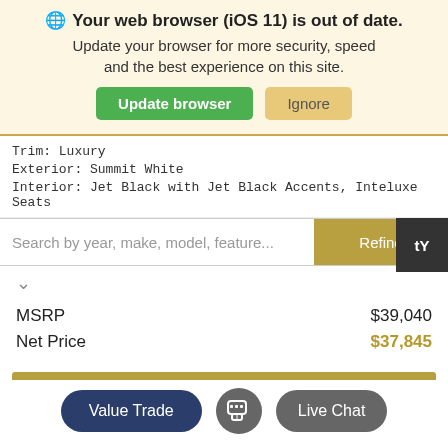🌐 Your web browser (iOS 11) is out of date. Update your browser for more security, speed and the best experience on this site.
Update browser | Ignore
Trim: Luxury
Exterior: Summit White
Interior: Jet Black with Jet Black Accents, Inteluxe Seats
Search by year, make, model, feature...
Refine
MSRP $39,040
Net Price $37,845
See More Info & Pictures Of This Vehicle
Value Trade
Live Chat